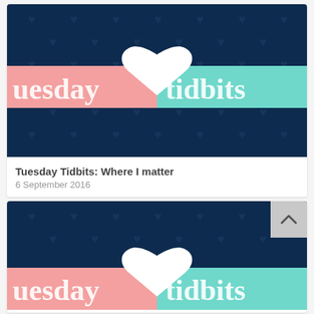[Figure (screenshot): Tuesday Tidbits blog post banner image: dark navy background with subtle heart pattern, pink and teal horizontal stripe across middle, large white heart in center, text 'uesday' in pink section and 'tidbits' in teal section]
Tuesday Tidbits: Where I matter
6 September 2016
[Figure (screenshot): Second Tuesday Tidbits blog post banner image, partially visible, same style: dark navy background with heart pattern, pink and teal stripe, white heart, text 'uesday' and 'tidbits' visible. Back-to-top button (chevron up icon) overlaid in top-right corner.]